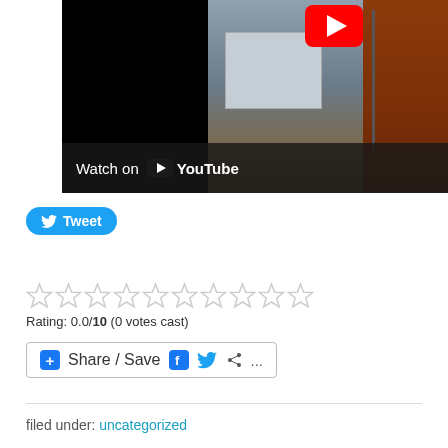[Figure (screenshot): YouTube video thumbnail showing an outdoor industrial scene with a building, rusty container/wall on right side, and a 'Watch on YouTube' overlay bar at the bottom. YouTube play button icon visible in upper right of video.]
[Figure (screenshot): Twitter Tweet button (blue rounded button with bird icon and 'Tweet' label)]
Rating: 0.0/10 (0 votes cast)
[Figure (screenshot): Share / Save button with Facebook, Twitter, and share icons]
filed under: uncategorized